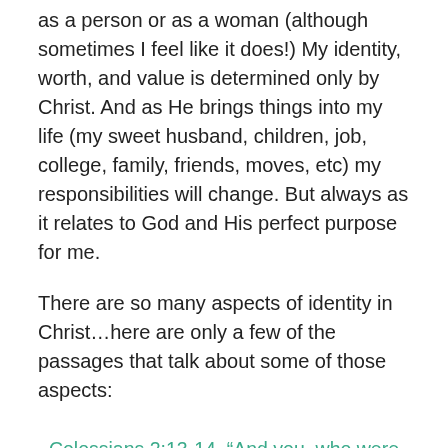as a person or as a woman (although sometimes I feel like it does!)  My identity, worth, and value is determined only by Christ.  And as He brings things into my life (my sweet husband, children, job, college, family, friends, moves, etc) my responsibilities will change.  But always as it relates to God and His perfect purpose for me.
There are so many aspects of identity in Christ…here are only a few of the passages that talk about some of those aspects:
Colossians 2:13-14, “And you, who were dead in your trespasses and the uncircumcision of your flesh, God made alive together with him, having forgiven us all our trespasses, by canceling the record of debt that